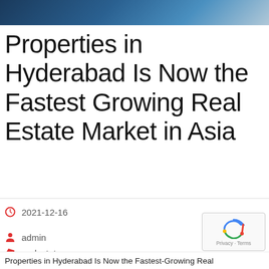[Figure (photo): Website header image with dark blue/teal background, partially cropped at the top of the page]
Properties in Hyderabad Is Now the Fastest Growing Real Estate Market in Asia
2021-12-16
admin
realestate
No Comments
Properties in Hyderabad Is Now the Fastest-Growing Real